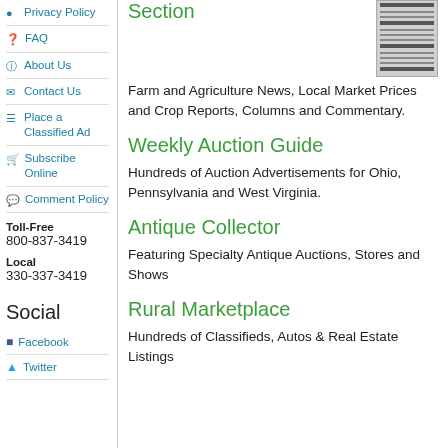Privacy Policy
FAQ
About Us
Contact Us
Place a Classified Ad
Subscribe Online
Comment Policy
Toll-Free
800-837-3419
Local
330-337-3419
Social
Facebook
Twitter
[Figure (photo): Thumbnail image of a newspaper page]
Section
Farm and Agriculture News, Local Market Prices and Crop Reports, Columns and Commentary.
Weekly Auction Guide
Hundreds of Auction Advertisements for Ohio, Pennsylvania and West Virginia.
Antique Collector
Featuring Specialty Antique Auctions, Stores and Shows
Rural Marketplace
Hundreds of Classifieds, Autos & Real Estate Listings